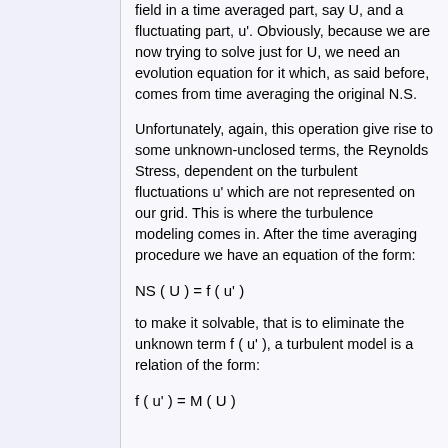field in a time averaged part, say U, and a fluctuating part, u'. Obviously, because we are now trying to solve just for U, we need an evolution equation for it which, as said before, comes from time averaging the original N.S.
Unfortunately, again, this operation give rise to some unknown-unclosed terms, the Reynolds Stress, dependent on the turbulent fluctuations u' which are not represented on our grid. This is where the turbulence modeling comes in. After the time averaging procedure we have an equation of the form:
to make it solvable, that is to eliminate the unknown term f ( u' ), a turbulent model is a relation of the form: